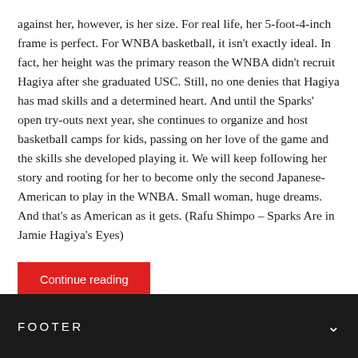against her, however, is her size. For real life, her 5-foot-4-inch frame is perfect. For WNBA basketball, it isn't exactly ideal. In fact, her height was the primary reason the WNBA didn't recruit Hagiya after she graduated USC. Still, no one denies that Hagiya has mad skills and a determined heart. And until the Sparks' open try-outs next year, she continues to organize and host basketball camps for kids, passing on her love of the game and the skills she developed playing it. We will keep following her story and rooting for her to become only the second Japanese-American to play in the WNBA. Small woman, huge dreams. And that's as American as it gets. (Rafu Shimpo – Sparks Are in Jamie Hagiya's Eyes)
Continue reading
FOOTER